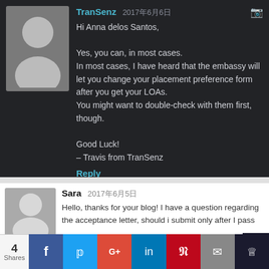[Figure (screenshot): Dark-themed blog comment from TranSenz with user avatar silhouette, username in blue, date in gray, reply text in light gray, and a Reply link.]
Hi Anna delos Santos,
Yes, you can, in most cases.
In most cases, I have heard that the embassy will let you change your placement preference form after you get your LOAs.
You might want to double-check with them first, though.

Good Luck!
– Travis from TranSenz
Reply
[Figure (screenshot): Light-themed blog comment from Sara with gray avatar silhouette, username in bold black, date in gray, and partial comment text.]
Sara 2017年6月5日
Hello, thanks for your blog! I have a question regarding the acceptance letter, should i submit only after I pass
4 Shares  f  t  G+  in  P  mail  bookmark